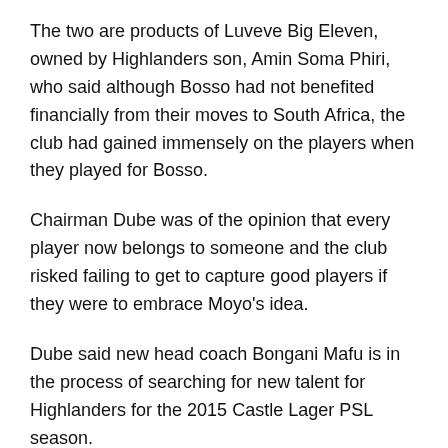The two are products of Luveve Big Eleven, owned by Highlanders son, Amin Soma Phiri, who said although Bosso had not benefited financially from their moves to South Africa, the club had gained immensely on the players when they played for Bosso.
Chairman Dube was of the opinion that every player now belongs to someone and the club risked failing to get to capture good players if they were to embrace Moyo's idea.
Dube said new head coach Bongani Mafu is in the process of searching for new talent for Highlanders for the 2015 Castle Lager PSL season.
“The new coach has already started searching for talent to build our new team. Newspapers have already mentioned a number of them, but as we approach the deadline for